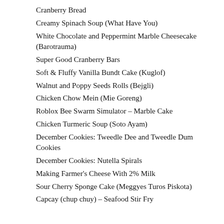Cranberry Bread
Creamy Spinach Soup (What Have You)
White Chocolate and Peppermint Marble Cheesecake (Barotrauma)
Super Good Cranberry Bars
Soft & Fluffy Vanilla Bundt Cake (Kuglof)
Walnut and Poppy Seeds Rolls (Bejgli)
Chicken Chow Mein (Mie Goreng)
Roblox Bee Swarm Simulator – Marble Cake
Chicken Turmeric Soup (Soto Ayam)
December Cookies: Tweedle Dee and Tweedle Dum Cookies
December Cookies: Nutella Spirals
Making Farmer's Cheese With 2% Milk
Sour Cherry Sponge Cake (Meggyes Turos Piskota)
Capcay (chup chuy) – Seafood Stir Fry